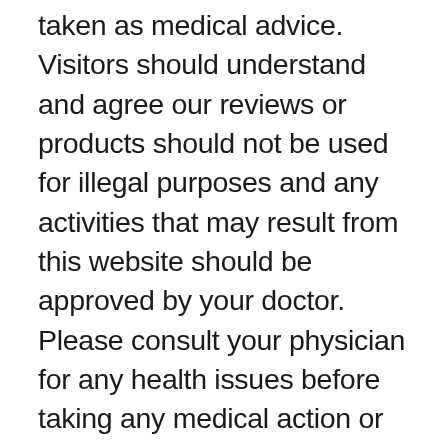taken as medical advice. Visitors should understand and agree our reviews or products should not be used for illegal purposes and any activities that may result from this website should be approved by your doctor. Please consult your physician for any health issues before taking any medical action or health advice. The content on this website is for informational purposes only, and should not be taken as legal advice. The content should also not be taken as medical advice. If you are unwell, you should seek the advice and attention of a doctor. None of the content published herein should substitute medical diagnosis or treatment. The content on this platform has not been evaluated and substantiated by the FDA (Food and Drug Administration). Before you